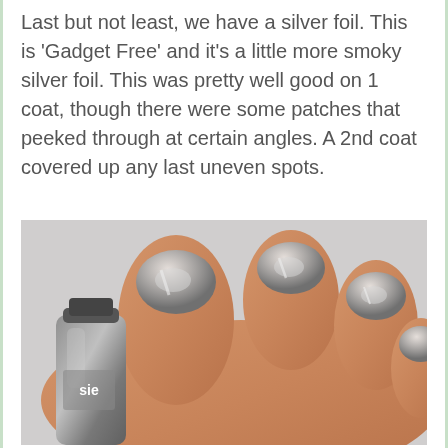Last but not least, we have a silver foil. This is 'Gadget Free' and it's a little more smoky silver foil. This was pretty well good on 1 coat, though there were some patches that peeked through at certain angles. A 2nd coat covered up any last uneven spots.
[Figure (photo): Close-up photo of a hand with silver metallic/foil nail polish on fingers, next to a bottle of Essie nail polish in a matching silver shade labeled 'Gadget Free'.]